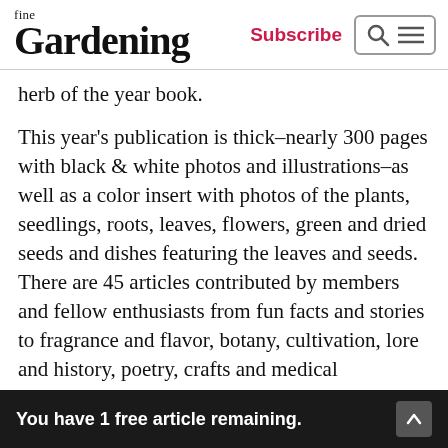fine Gardening | Subscribe
herb of the year book.
This year’s publication is thick–nearly 300 pages with black & white photos and illustrations–as well as a color insert with photos of the plants, seedlings, roots, leaves, flowers, green and dried seeds and dishes featuring the leaves and seeds. There are 45 articles contributed by members and fellow enthusiasts from fun facts and stories to fragrance and flavor, botany, cultivation, lore and history, poetry, crafts and medical information. And we musn’t forget the recipes! Perhaps, I’ll share a favorite recipe highlighting this pungently flavorful herb in an upcoming blog–so stay tuned!
You have 1 free article remaining.